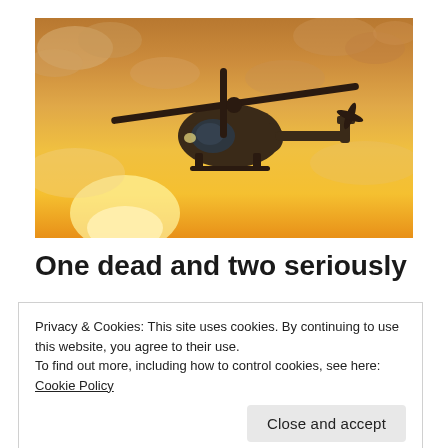[Figure (photo): A helicopter flying against a dramatic orange and yellow sunset sky with clouds]
One dead and two seriously
Privacy & Cookies: This site uses cookies. By continuing to use this website, you agree to their use.
To find out more, including how to control cookies, see here: Cookie Policy
Close and accept